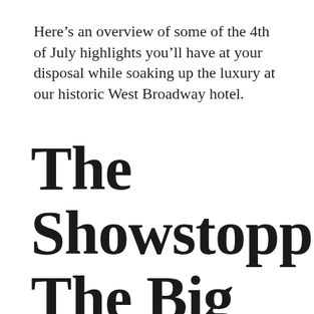Here's an overview of some of the 4th of July highlights you'll have at your disposal while soaking up the luxury at our historic West Broadway hotel.
The Showstopper: The Big Bay Boom